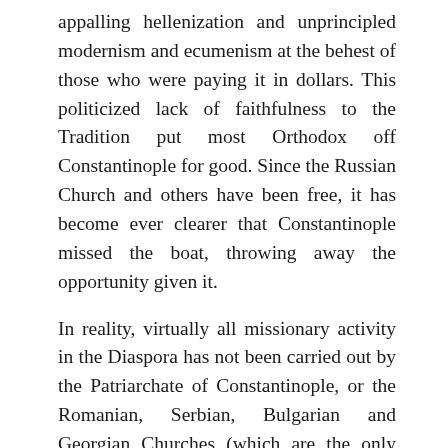appalling hellenization and unprincipled modernism and ecumenism at the behest of those who were paying it in dollars. This politicized lack of faithfulness to the Tradition put most Orthodox off Constantinople for good. Since the Russian Church and others have been free, it has become ever clearer that Constantinople missed the boat, throwing away the opportunity given it.
In reality, virtually all missionary activity in the Diaspora has not been carried out by the Patriarchate of Constantinople, or the Romanian, Serbian, Bulgarian and Georgian Churches (which are the only Local Churches with diasporas), but either by one part or another of the Russian Church or else by the Antiochian Church. The former has not always been up to the task by any means, but on the other hand, it has generally, though with some hugely lamentable exceptions, adhered more to the Tradition and the canonical and liturgical Tradition and disciplines of the Church. On the other hand, the latter has displayed an admirable openness and